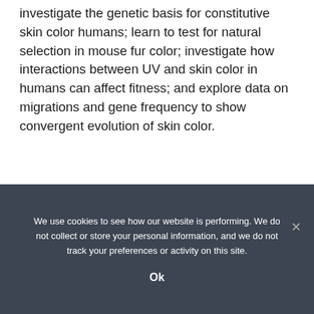investigate the genetic basis for constitutive skin color humans; learn to test for natural selection in mouse fur color; investigate how interactions between UV and skin color in humans can affect fitness; and explore data on migrations and gene frequency to show convergent evolution of skin color.
View details »
We use cookies to see how our website is performing. We do not collect or store your personal information, and we do not track your preferences or activity on this site.
Ok